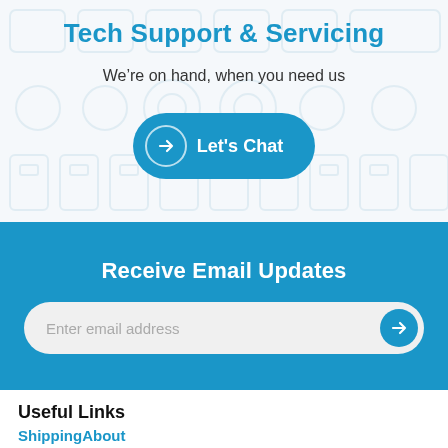Tech Support & Servicing
We're on hand, when you need us
Let's Chat
Receive Email Updates
Enter email address
Useful Links
Shipping
About